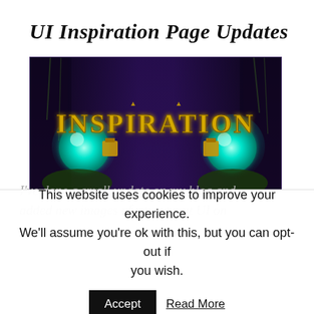UI Inspiration Page Updates
[Figure (screenshot): Fantasy game-themed banner image with the text 'INSPIRATION' in ornate golden letters, glowing teal crystal orbs on left and right, dark purple mystical forest background with hanging vines.]
I've done a small update on my blog and added new images of my current UI on
This website uses cookies to improve your experience. We'll assume you're ok with this, but you can opt-out if you wish.
Accept
Read More